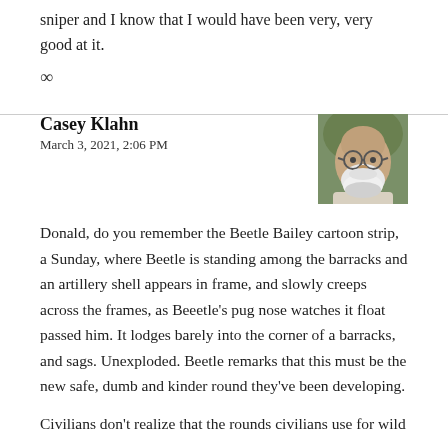sniper and I know that I would have been very, very good at it.
∞
Casey Klahn
March 3, 2021, 2:06 PM
[Figure (photo): Profile photo of an older bald man with a white beard wearing glasses]
Donald, do you remember the Beetle Bailey cartoon strip, a Sunday, where Beetle is standing among the barracks and an artillery shell appears in frame, and slowly creeps across the frames, as Beeetle's pug nose watches it float passed him. It lodges barely into the corner of a barracks, and sags. Unexploded. Beetle remarks that this must be the new safe, dumb and kinder round they've been developing.
Civilians don't realize that the rounds civilians use for wild